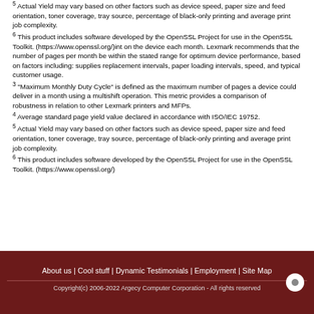5 Actual Yield may vary based on other factors such as device speed, paper size and feed orientation, toner coverage, tray source, percentage of black-only printing and average print job complexity.
6 This product includes software developed by the OpenSSL Project for use in the OpenSSL Toolkit. (https://www.openssl.org/)int on the device each month. Lexmark recommends that the number of pages per month be within the stated range for optimum device performance, based on factors including: supplies replacement intervals, paper loading intervals, speed, and typical customer usage.
3 "Maximum Monthly Duty Cycle" is defined as the maximum number of pages a device could deliver in a month using a multishift operation. This metric provides a comparison of robustness in relation to other Lexmark printers and MFPs.
4 Average standard page yield value declared in accordance with ISO/IEC 19752.
5 Actual Yield may vary based on other factors such as device speed, paper size and feed orientation, toner coverage, tray source, percentage of black-only printing and average print job complexity.
6 This product includes software developed by the OpenSSL Project for use in the OpenSSL Toolkit. (https://www.openssl.org/)
About us | Cool stuff | Dynamic Testimonials | Employment | Site Map
Copyright(c) 2006-2022 Argecy Computer Corporation - All rights reserved